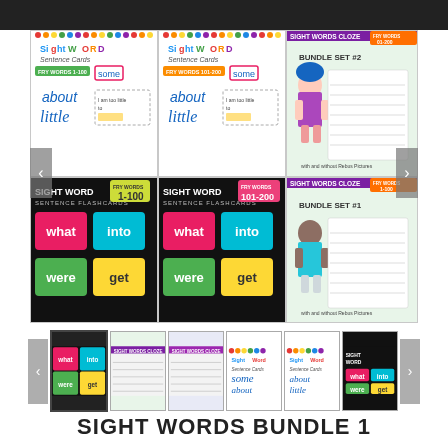[Figure (screenshot): A product listing page showing 'Sight Words Bundle 1' educational materials. The main area shows a 3x2 grid of product thumbnails: Sight Word Sentence Cards Fry Words 1-100, Sight Word Sentence Cards Fry Words 101-200, Sight Words Cloze Bundle Set #2 (Fry Words 01-200), Sight Word Sentence Flashcards Fry Words 1-100, Sight Word Sentence Flashcards Fry Words 101-200, and Sight Words Cloze Bundle Set #1 (Fry Words 1-100). Below is a thumbnail carousel showing small previews. At the bottom is the title 'SIGHT WORDS BUNDLE 1'.]
SIGHT WORDS BUNDLE 1